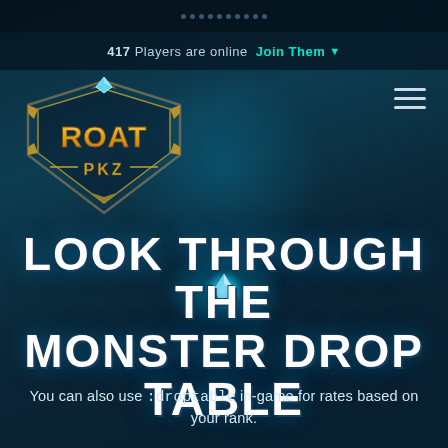417 Players are online  Join Them ▼
[Figure (logo): Roat PKZ game logo — ornate gold and silver shield design with 'ROAT PKZ' text in gold/bronze lettering with a diamond gem at top]
LOOK THROUGH THE MONSTER DROP TABLE
You can also use :droptable in-game for rates based on your rank.